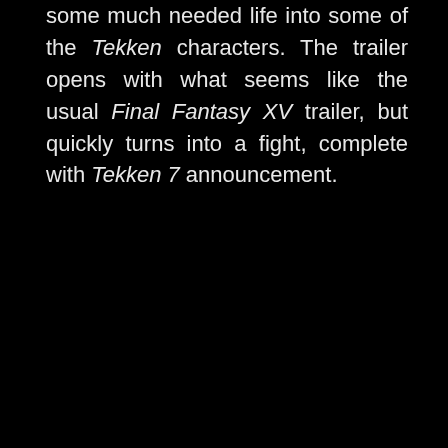some much needed life into some of the Tekken characters. The trailer opens with what seems like the usual Final Fantasy XV trailer, but quickly turns into a fight, complete with Tekken 7 announcement.